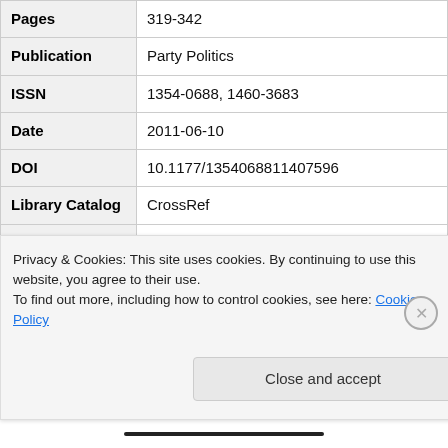| Field | Value |
| --- | --- |
| Pages | 319-342 |
| Publication | Party Politics |
| ISSN | 1354-0688, 1460-3683 |
| Date | 2011-06-10 |
| DOI | 10.1177/1354068811407596 |
| Library Catalog | CrossRef |
| Abstract | Compared to its West European counterparts, post-communist Christian Democracy is notable for its lack of success. Even in the most religious of post-communist democracies, no Christian Democratic (CD) party has claimed a plurality of the electorate. At the same time, there is a considerable range in average electoral s... |
Privacy & Cookies: This site uses cookies. By continuing to use this website, you agree to their use. To find out more, including how to control cookies, see here: Cookie Policy
Close and accept